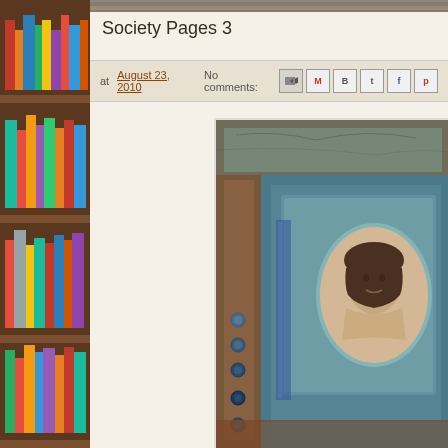[Figure (photo): Bookshelf with colorful books on wooden shelves, left sidebar]
[Figure (photo): Partial top image strip at top right]
Society Pages 3
at August 23, 2010   No comments:
[Figure (photo): Mixed media artwork featuring an oval portrait photograph of a young woman embedded in a painted/textured surface with blues, rust/orange colors and decorative buttons along the left edge]